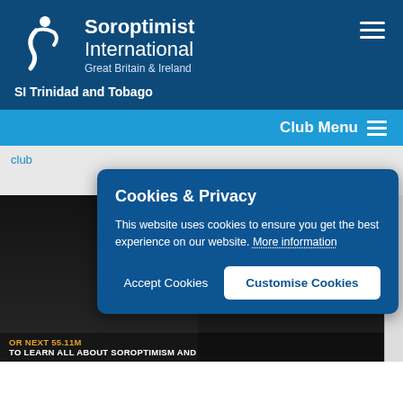[Figure (logo): Soroptimist International Great Britain & Ireland logo — white stylized figure on dark blue background with brand name text]
SI Trinidad and Tobago
Club Menu
club
Cookies & Privacy
This website uses cookies to ensure you get the best experience on our website. More information
Accept Cookies
Customise Cookies